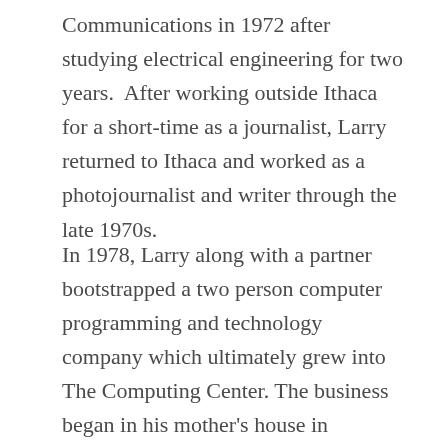Communications in 1972 after studying electrical engineering for two years.  After working outside Ithaca for a short-time as a journalist, Larry returned to Ithaca and worked as a photojournalist and writer through the late 1970s.
In 1978, Larry along with a partner bootstrapped a two person computer programming and technology company which ultimately grew into The Computing Center. The business began in his mother's house in downtown Ithaca and today has over two dozen employees, providing computer systems, networking technologies, hosting services, systems consulting, training and support throughout southern central New